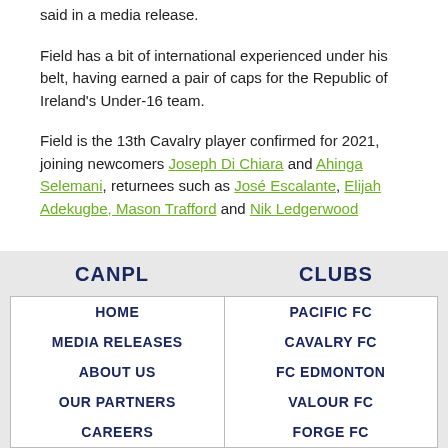said in a media release.
Field has a bit of international experienced under his belt, having earned a pair of caps for the Republic of Ireland's Under-16 team.
Field is the 13th Cavalry player confirmed for 2021, joining newcomers Joseph Di Chiara and Ahinga Selemani, returnees such as José Escalante, Elijah Adekugbe, Mason Trafford and Nik Ledgerwood
CANPL
CLUBS
| HOME | PACIFIC FC |
| MEDIA RELEASES | CAVALRY FC |
| ABOUT US | FC EDMONTON |
| OUR PARTNERS | VALOUR FC |
| CAREERS | FORGE FC |